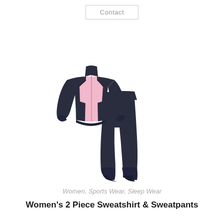Contact
[Figure (photo): Women's 2-piece tracksuit set consisting of a navy blue and pink zip-up jacket with raglan sleeves and navy blue sweatpants, displayed on a white background.]
Women, Sports Wear, Sleep Wear
Women's 2 Piece Sweatshirt & Sweatpants